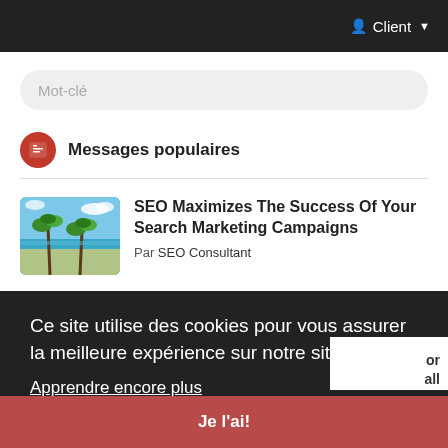Client ▾
Mot-clé
Messages populaires
SEO Maximizes The Success Of Your Search Marketing Campaigns
Par SEO Consultant
[Figure (photo): Thumbnail photo of a tropical beach with palm trees and blue water]
Ce site utilise des cookies pour vous assurer la meilleure expérience sur notre site. Apprendre encore plus
Je l'ai!